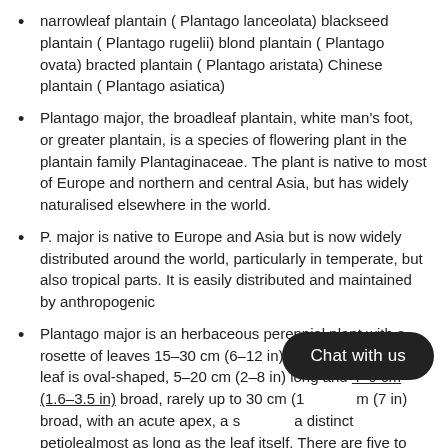narrowleaf plantain ( Plantago lanceolata) blackseed plantain ( Plantago rugelii) blond plantain ( Plantago ovata) bracted plantain ( Plantago aristata) Chinese plantain ( Plantago asiatica)
Plantago major, the broadleaf plantain, white man's foot, or greater plantain, is a species of flowering plant in the plantain family Plantaginaceae. The plant is native to most of Europe and northern and central Asia, but has widely naturalised elsewhere in the world.
P. major is native to Europe and Asia but is now widely distributed around the world, particularly in temperate, but also tropical parts. It is easily distributed and maintained by anthropogenic
Plantago major is an herbaceous perennial plant with a rosette of leaves 15–30 cm (6–12 in) in diameter. Each leaf is oval-shaped, 5–20 cm (2–8 in) long and 4–9 cm (1.6–3.5 in) broad, rarely up to 30 cm (1  m (7 in) broad, with an acute apex, a s  a distinct petiolealmost as long as the leaf itself. There are five to nine conspicuous veins over the length of the leaf